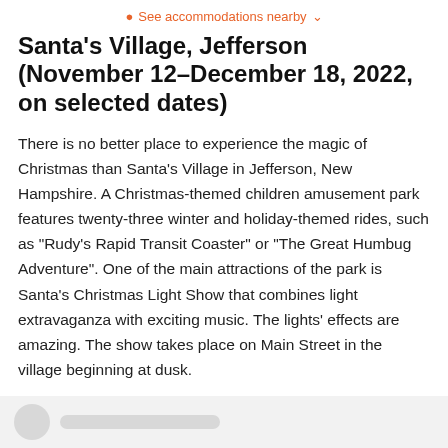See accommodations nearby
Santa's Village, Jefferson (November 12–December 18, 2022, on selected dates)
There is no better place to experience the magic of Christmas than Santa's Village in Jefferson, New Hampshire. A Christmas-themed children amusement park features twenty-three winter and holiday-themed rides, such as "Rudy's Rapid Transit Coaster" or "The Great Humbug Adventure". One of the main attractions of the park is Santa's Christmas Light Show that combines light extravaganza with exciting music. The lights' effects are amazing. The show takes place on Main Street in the village beginning at dusk.